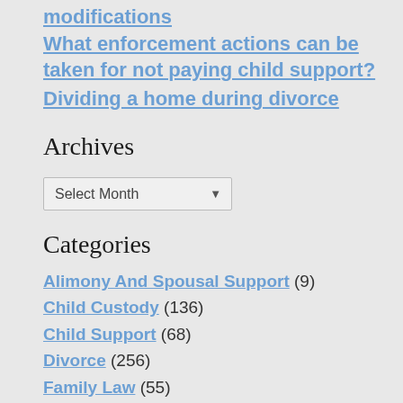modifications
What enforcement actions can be taken for not paying child support?
Dividing a home during divorce
Archives
Select Month
Categories
Alimony And Spousal Support (9)
Child Custody (136)
Child Support (68)
Divorce (256)
Family Law (55)
Fathers' Rights (39)
Firm News (3)
High Asset Divorce (39)